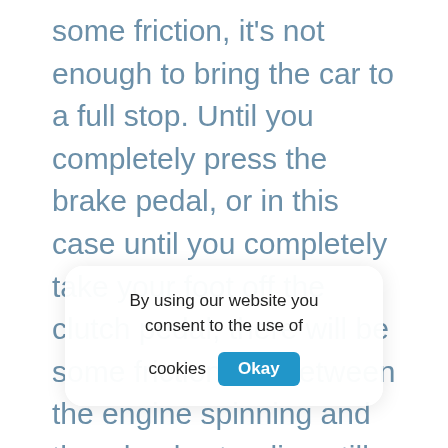some friction, it's not enough to bring the car to a full stop. Until you completely press the brake pedal, or in this case until you completely take your foot off the clutch pedal, there will be some friction rub between the engine spinning and the wheels standing still. The friction zone is where you're going to spend a lot of time practicing. In most normal situations, it's best not to ride the clutch. You should either have the clutch pedal pressed all of the way d[obscured]ut while you're le[obscured]rry too much about getting this perfectly right off
By using our website you consent to the use of cookies